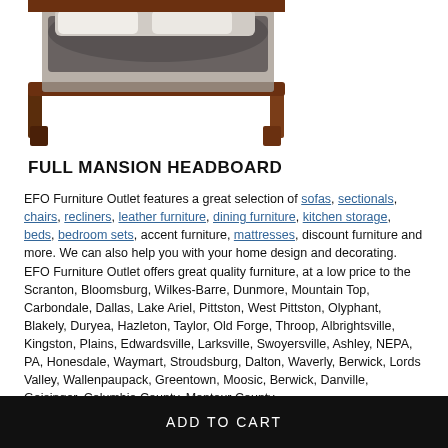[Figure (photo): Partial view of a wooden bed frame (Full Mansion Headboard) in dark walnut/cherry finish with white and gray bedding, photographed from above at an angle showing the footboard and side rails.]
FULL MANSION HEADBOARD
EFO Furniture Outlet features a great selection of sofas, sectionals, chairs, recliners, leather furniture, dining furniture, kitchen storage, beds, bedroom sets, accent furniture, mattresses, discount furniture and more. We can also help you with your home design and decorating. EFO Furniture Outlet offers great quality furniture, at a low price to the Scranton, Bloomsburg, Wilkes-Barre, Dunmore, Mountain Top, Carbondale, Dallas, Lake Ariel, Pittston, West Pittston, Olyphant, Blakely, Duryea, Hazleton, Taylor, Old Forge, Throop, Albrightsville, Kingston, Plains, Edwardsville, Larksville, Swoyersville, Ashley, NEPA, PA, Honesdale, Waymart, Stroudsburg, Dalton, Waverly, Berwick, Lords Valley, Wallenpaupack, Greentown, Moosic, Berwick, Danville, Geisinger, Columbia County, Montour County,
ADD TO CART